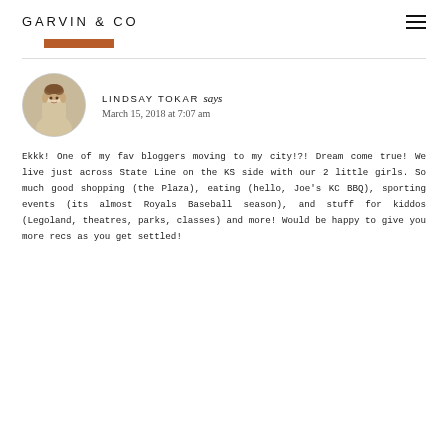GARVIN & CO
LINDSAY TOKAR says
March 15, 2018 at 7:07 am
Ekkk! One of my fav bloggers moving to my city!?! Dream come true! We live just across State Line on the KS side with our 2 little girls. So much good shopping (the Plaza), eating (hello, Joe's KC BBQ), sporting events (its almost Royals Baseball season), and stuff for kiddos (Legoland, theatres, parks, classes) and more! Would be happy to give you more recs as you get settled!